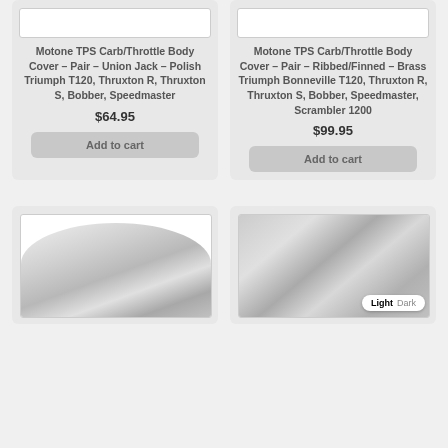[Figure (photo): Top portion of product image for Motone TPS Carb/Throttle Body Cover - Union Jack - Polish Triumph]
Motone TPS Carb/Throttle Body Cover – Pair – Union Jack – Polish Triumph T120, Thruxton R, Thruxton S, Bobber, Speedmaster
$64.95
Add to cart
[Figure (photo): Top portion of product image for Motone TPS Carb/Throttle Body Cover - Ribbed/Finned - Brass Triumph Bonneville]
Motone TPS Carb/Throttle Body Cover – Pair – Ribbed/Finned – Brass Triumph Bonneville T120, Thruxton R, Thruxton S, Bobber, Speedmaster, Scrambler 1200
$99.95
Add to cart
[Figure (photo): Bottom product card showing chrome motorcycle part]
[Figure (photo): Bottom right product card showing chrome motorcycle part with Light/Dark toggle badge]